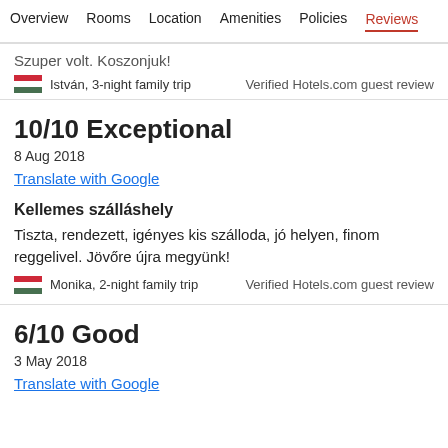Overview  Rooms  Location  Amenities  Policies  Reviews
Szuper volt. Koszonjuk!
István, 3-night family trip
Verified Hotels.com guest review
10/10 Exceptional
8 Aug 2018
Translate with Google
Kellemes szálláshely
Tiszta, rendezett, igényes kis szálloda, jó helyen, finom reggelivel. Jövőre újra megyünk!
Monika, 2-night family trip
Verified Hotels.com guest review
6/10 Good
3 May 2018
Translate with Google